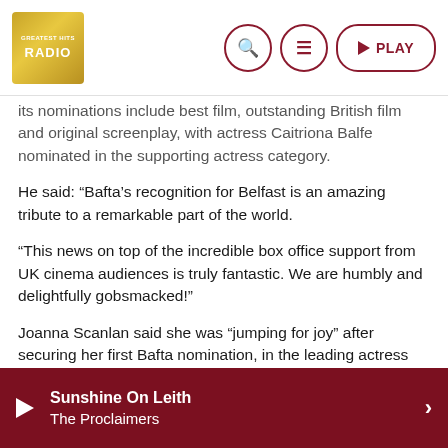Greatest Hits Radio
its nominations include best film, outstanding British film and original screenplay, with actress Caitriona Balfe nominated in the supporting actress category.
He said: “Bafta’s recognition for Belfast is an amazing tribute to a remarkable part of the world.
“This news on top of the incredible box office support from UK cinema audiences is truly fantastic. We are humbly and delightfully gobsmacked!”
Joanna Scanlan said she was “jumping for joy” after securing her first Bafta nomination, in the leading actress category for her performance in After Love.
The film, directed and written by Aleem Khan in his feature-
Sunshine On Leith
The Proclaimers